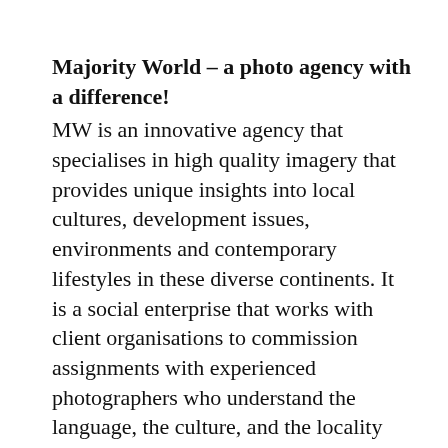Majority World – a photo agency with a difference!
MW is an innovative agency that specialises in high quality imagery that provides unique insights into local cultures, development issues, environments and contemporary lifestyles in these diverse continents. It is a social enterprise that works with client organisations to commission assignments with experienced photographers who understand the language, the culture, and the locality because it is their own.
To know more click on this link (http://www.majorityworld.com)